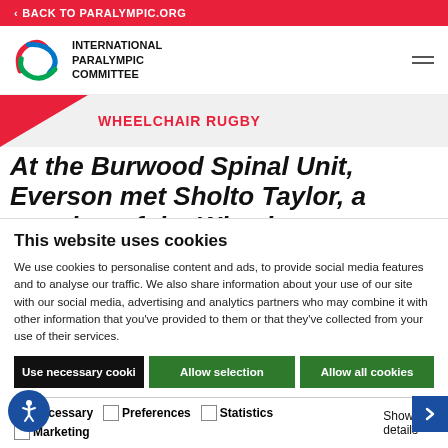< BACK TO PARALYMPIC.ORG
[Figure (logo): International Paralympic Committee logo with agitos symbol and text]
WHEELCHAIR RUGBY
At the Burwood Spinal Unit, Everson met Sholto Taylor, a member of the Wheel
This website uses cookies
We use cookies to personalise content and ads, to provide social media features and to analyse our traffic. We also share information about your use of our site with our social media, advertising and analytics partners who may combine it with other information that you've provided to them or that they've collected from your use of their services.
Use necessary cooki  Allow selection  Allow all cookies
Necessary  Preferences  Statistics  Marketing  Show details
e the teenager did not think he needed rugby, documentary